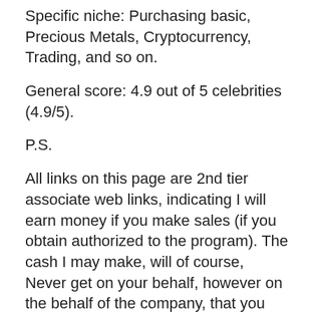Specific niche: Purchasing basic, Precious Metals, Cryptocurrency, Trading, and so on.
General score: 4.9 out of 5 celebrities (4.9/5).
P.S.
All links on this page are 2nd tier associate web links, indicating I will earn money if you make sales (if you obtain authorized to the program). The cash I may make, will of course, Never get on your behalf, however on the behalf of the company, that you promote.
How To Buy Gold In Kenya